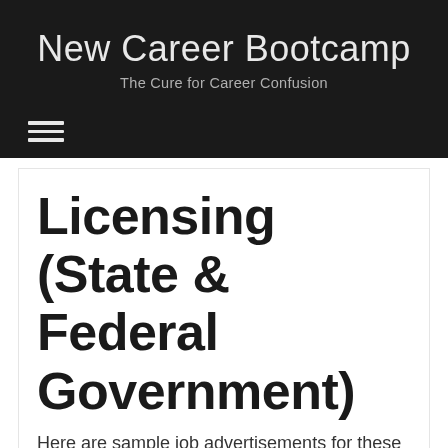New Career Bootcamp
The Cure for Career Confusion
Licensing (State & Federal Government)
Here are sample job advertisements for these types of positions…